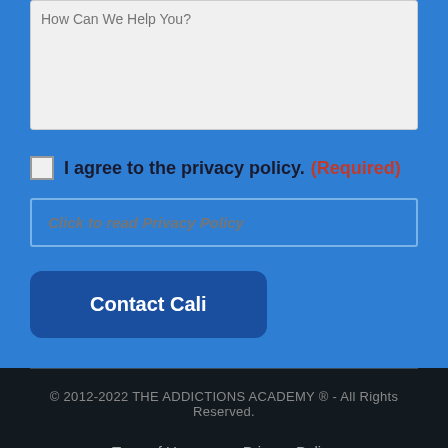How Can We Help You?
I agree to the privacy policy. (Required)
Click to read Privacy Policy
Contact Cali
© 2012-2022 THE ADDICTIONS ACADEMY ® - All Rights Reserved.
Term of Use   Privacy Policy